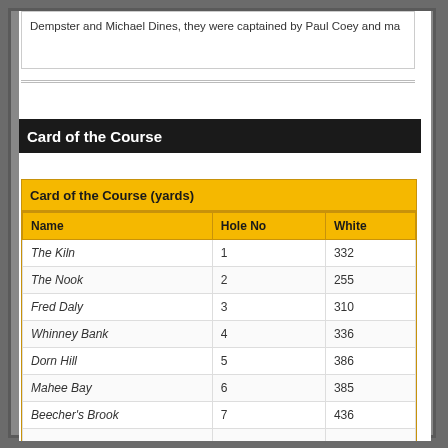Dempster and Michael Dines, they were captained by Paul Coey and ma
Card of the Course
| Name | Hole No | White |
| --- | --- | --- |
| The Kiln | 1 | 332 |
| The Nook | 2 | 255 |
| Fred Daly | 3 | 310 |
| Whinney Bank | 4 | 336 |
| Dorn Hill | 5 | 386 |
| Mahee Bay | 6 | 385 |
| Beecher's Brook | 7 | 436 |